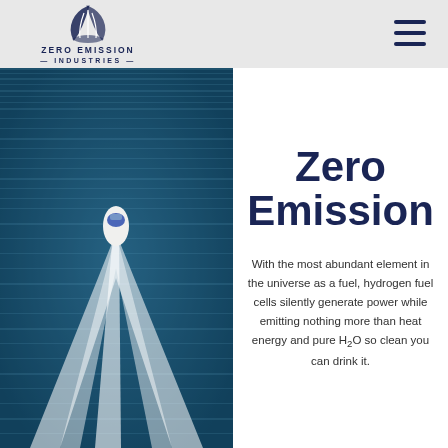ZERO EMISSION INDUSTRIES
[Figure (logo): Zero Emission Industries logo with triangular wave emblem above the text ZERO EMISSION INDUSTRIES]
[Figure (photo): Aerial view of a motorboat speeding across dark teal ocean water, leaving a white wake trail behind it]
Zero Emission
With the most abundant element in the universe as a fuel, hydrogen fuel cells silently generate power while emitting nothing more than heat energy and pure H2O so clean you can drink it.